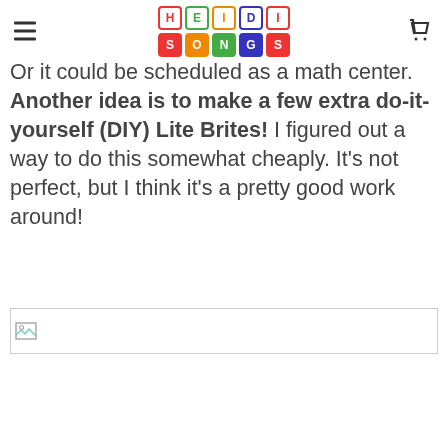HeidiSongs
Or it could be scheduled as a math center.  Another idea is to make a few extra do-it-yourself (DIY) Lite Brites!  I figured out a way to do this somewhat cheaply.  It's not perfect, but I think it's a pretty good work around!
[Figure (photo): Broken image placeholder / failed image load]